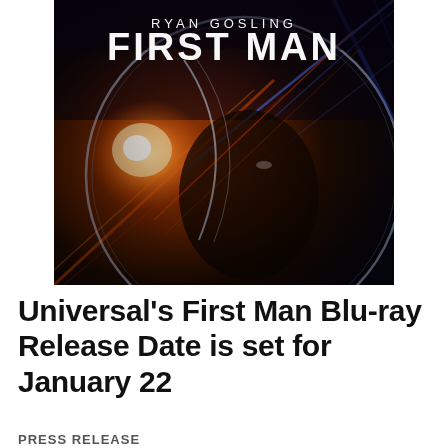[Figure (photo): Movie poster for First Man featuring Ryan Gosling as an astronaut in a spacesuit helmet with dramatic orange and blue light streaks. Text overlaid: 'RYAN GOSLING' and 'FIRST MAN' in white.]
Universal's First Man Blu-ray Release Date is set for January 22
PRESS RELEASE